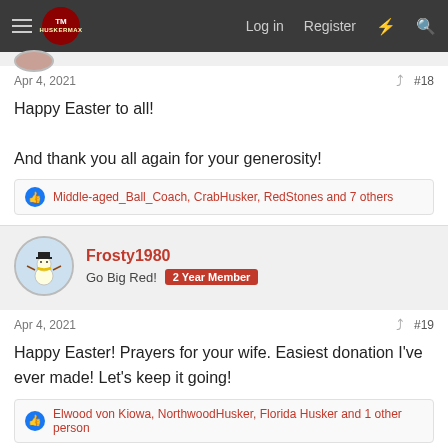HuskerMax — Log in | Register
Apr 4, 2021  #18
Happy Easter to all!

And thank you all again for your generosity!
Middle-aged_Ball_Coach, CrabHusker, RedStones and 7 others
Frosty1980 — Go Big Red! 2 Year Member
Apr 4, 2021  #19
Happy Easter! Prayers for your wife. Easiest donation I've ever made! Let's keep it going!
Elwood von Kiowa, NorthwoodHusker, Florida Husker and 1 other person